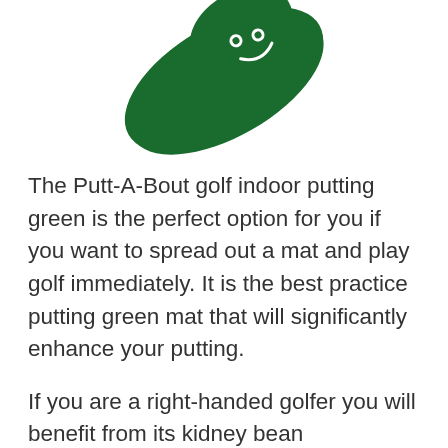[Figure (illustration): A green kidney-bean shaped putting green mat with a white smiley face design on it, shown from above at an angle. The mat is dark green felt/turf material.]
The Putt-A-Bout golf indoor putting green is the perfect option for you if you want to spread out a mat and play golf immediately. It is the best practice putting green mat that will significantly enhance your putting.
If you are a right-handed golfer you will benefit from its kidney bean